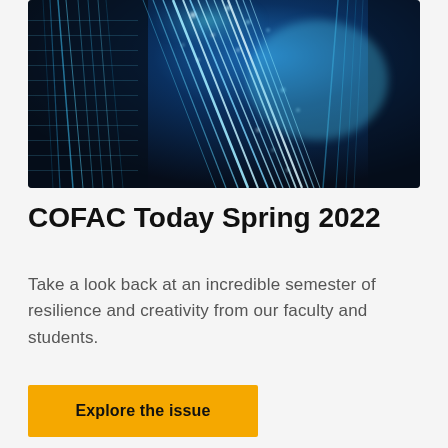[Figure (photo): Close-up photo of glowing blue fiber optic cables or data center wiring, creating a bright blue abstract technological visual effect against a dark background.]
COFAC Today Spring 2022
Take a look back at an incredible semester of resilience and creativity from our faculty and students.
Explore the issue